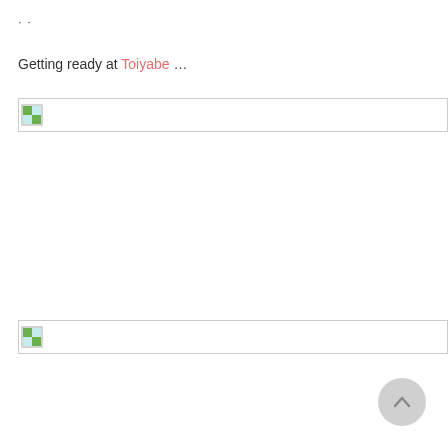· ·
Getting ready at Toiyabe …
[Figure (photo): Broken/missing image placeholder 1 with image icon]
[Figure (photo): Broken/missing image placeholder 2 with image icon]